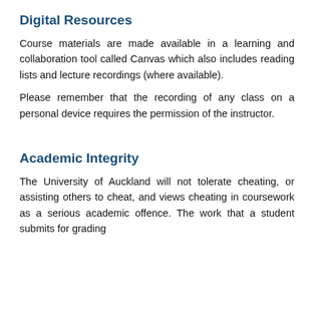Digital Resources
Course materials are made available in a learning and collaboration tool called Canvas which also includes reading lists and lecture recordings (where available).
Please remember that the recording of any class on a personal device requires the permission of the instructor.
Academic Integrity
The University of Auckland will not tolerate cheating, or assisting others to cheat, and views cheating in coursework as a serious academic offence. The work that a student submits for grading